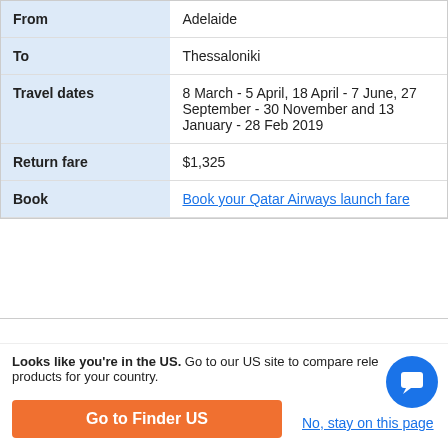|  |  |
| --- | --- |
| From | Adelaide |
| To | Thessaloniki |
| Travel dates | 8 March - 5 April, 18 April - 7 June, 27 September - 30 November and 13 January - 28 Feb 2019 |
| Return fare | $1,325 |
| Book | Book your Qatar Airways launch fare |
Latest travel headlines
Looks like you're in the US. Go to our US site to compare rele products for your country.